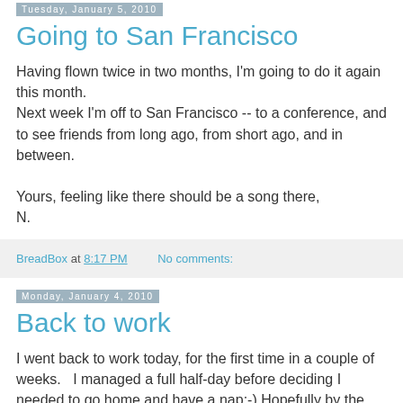Tuesday, January 5, 2010
Going to San Francisco
Having flown twice in two months, I'm going to do it again this month.
Next week I'm off to San Francisco -- to a conference, and to see friends from long ago, from short ago, and in between.

Yours, feeling like there should be a song there,
N.
BreadBox at 8:17 PM    No comments:
Monday, January 4, 2010
Back to work
I went back to work today, for the first time in a couple of weeks.   I managed a full half-day before deciding I needed to go home and have a nap:-) Hopefully by the time classes start on Wednesday I will have recovered my energy enough to travel from 10:00-2:00 straight...